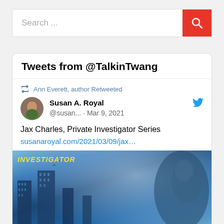Search ...
Tweets from @TalkinTwang
Ann Everett, author Retweeted
Susan A. Royal @susan... · Mar 9, 2021
Jax Charles, Private Investigator Series susanaroyal.com/2021/03/09/jax...
[Figure (photo): Book cover image for Jax Charles Private Investigator series showing blue misty cityscape with buildings and a figure in the foreground, with 'INVESTIGATOR' text in yellow at top left]